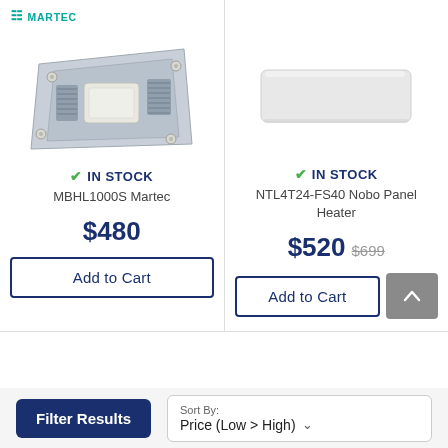[Figure (photo): Martec logo - teal brand mark with triple parallel lines and MARTEC text]
[Figure (photo): MBHL1000S Martec ceiling bathroom heater with exhaust fan and light, silver metallic panel with screws]
✔ IN STOCK
MBHL1000S Martec
$480
Add to Cart
[Figure (photo): NTL4T24-FS40 Nobo Panel Heater - white rectangular flat panel heater]
✔ IN STOCK
NTL4T24-FS40 Nobo Panel Heater
$520 $699
Add to Cart
Filter Results
Sort By: Price (Low > High)